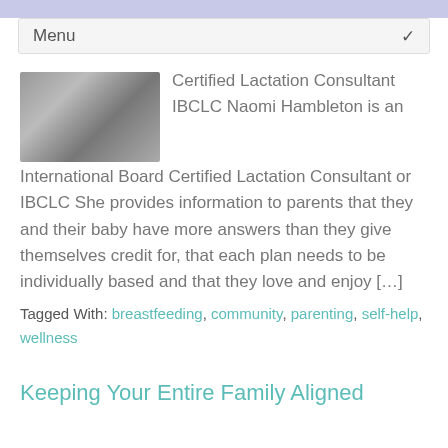Menu
[Figure (photo): A woman in a dark top, partial upper body photo used as article thumbnail]
Certified Lactation Consultant IBCLC Naomi Hambleton is an International Board Certified Lactation Consultant or IBCLC She provides information to parents that they and their baby have more answers than they give themselves credit for, that each plan needs to be individually based and that they love and enjoy […]
Tagged With: breastfeeding, community, parenting, self-help, wellness
Keeping Your Entire Family Aligned